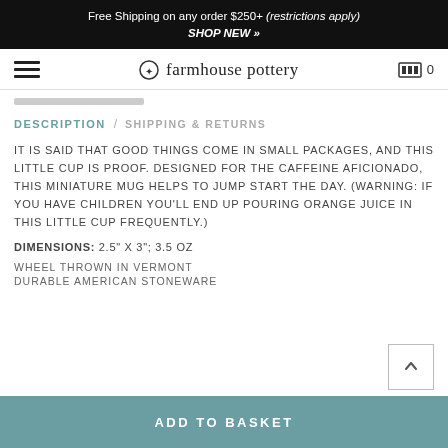Free Shipping on any order $250+ (restrictions apply) SHOP NEW »
[Figure (logo): Farmhouse Pottery logo with wreath icon and navigation hamburger menu and cart icon]
DESCRIPTION / SHIPPING & RETURNS
IT IS SAID THAT GOOD THINGS COME IN SMALL PACKAGES, AND THIS LITTLE CUP IS PROOF. DESIGNED FOR THE CAFFEINE AFICIONADO, THIS MINIATURE MUG HELPS TO JUMP START THE DAY. (WARNING: IF YOU HAVE CHILDREN YOU'LL END UP POURING ORANGE JUICE IN THIS LITTLE CUP FREQUENTLY.)
DIMENSIONS: 2.5" X 3"; 3.5 OZ
WHEEL THROWN IN VERMONT
DURABLE AMERICAN STONEWARE
ADD TO BASKET